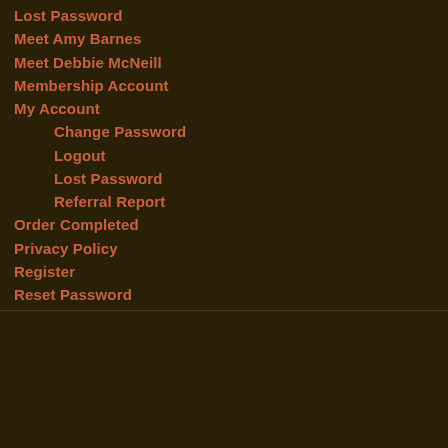Lost Password
Meet Amy Barnes
Meet Debbie McNeill
Membership Account
My Account
Change Password
Logout
Lost Password
Referral Report
Order Completed
Privacy Policy
Register
Reset Password
Tickets Checkout
CraftyPerson © 2022. All Rights Reserved.
Powered by WordPress. Designed by WooThemes